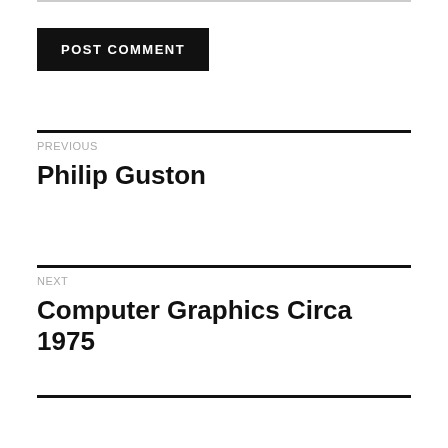POST COMMENT
PREVIOUS
Philip Guston
NEXT
Computer Graphics Circa 1975